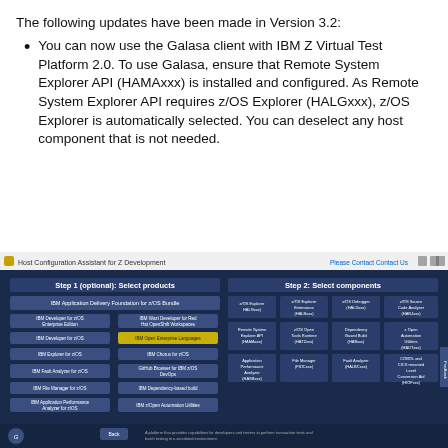The following updates have been made in Version 3.2:
You can now use the Galasa client with IBM Z Virtual Test Platform 2.0. To use Galasa, ensure that Remote System Explorer API (HAMAxxx) is installed and configured. As Remote System Explorer API requires z/OS Explorer (HALGxxx), z/OS Explorer is automatically selected. You can deselect any host component that is not needed.
[Figure (screenshot): Screenshot of Host Configuration Assistant for Z Development showing Step 1 (optional): Select products panel on the left and Step 2: Select components panel on the right, with various IBM product components listed as selectable buttons on a dark blue background.]